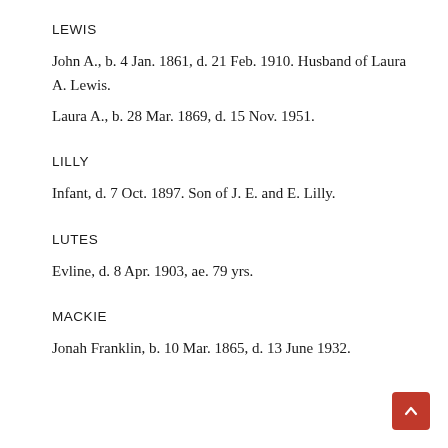LEWIS
John A., b. 4 Jan. 1861, d. 21 Feb. 1910. Husband of Laura A. Lewis.
Laura A., b. 28 Mar. 1869, d. 15 Nov. 1951.
LILLY
Infant, d. 7 Oct. 1897. Son of J. E. and E. Lilly.
LUTES
Evline, d. 8 Apr. 1903, ae. 79 yrs.
MACKIE
Jonah Franklin, b. 10 Mar. 1865, d. 13 June 1932.